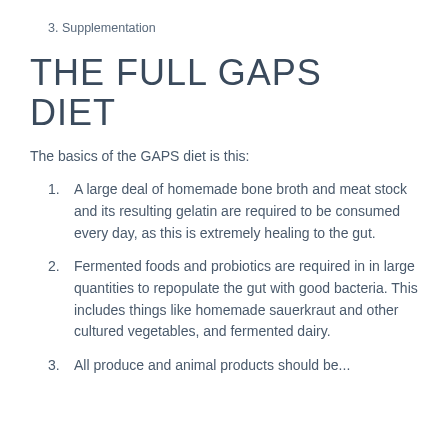3. Supplementation
THE FULL GAPS DIET
The basics of the GAPS diet is this:
A large deal of homemade bone broth and meat stock and its resulting gelatin are required to be consumed every day, as this is extremely healing to the gut.
Fermented foods and probiotics are required in in large quantities to repopulate the gut with good bacteria. This includes things like homemade sauerkraut and other cultured vegetables, and fermented dairy.
All produce and animal products should be...